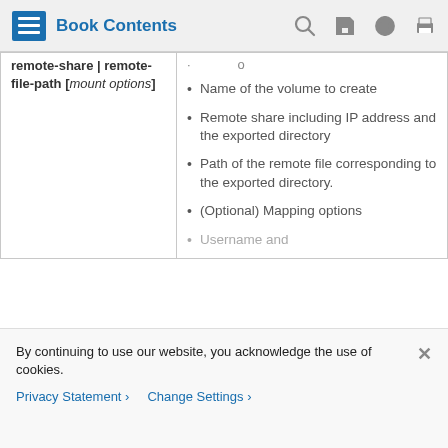Book Contents
| remote-share | remote-file-path [mount options] | • Name of the volume to create
• Remote share including IP address and the exported directory
• Path of the remote file corresponding to the exported directory.
• (Optional) Mapping options
• Username and... |
By continuing to use our website, you acknowledge the use of cookies.
Privacy Statement > Change Settings >